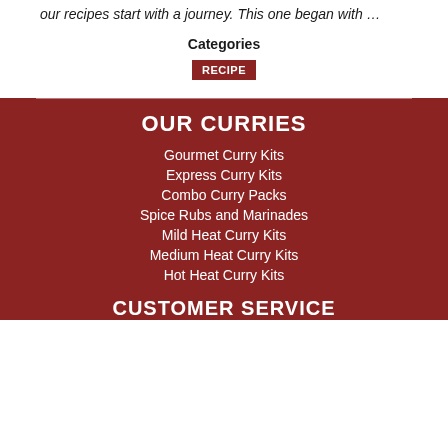our recipes start with a journey. This one began with …
Categories
RECIPE
OUR CURRIES
Gourmet Curry Kits
Express Curry Kits
Combo Curry Packs
Spice Rubs and Marinades
Mild Heat Curry Kits
Medium Heat Curry Kits
Hot Heat Curry Kits
CUSTOMER SERVICE